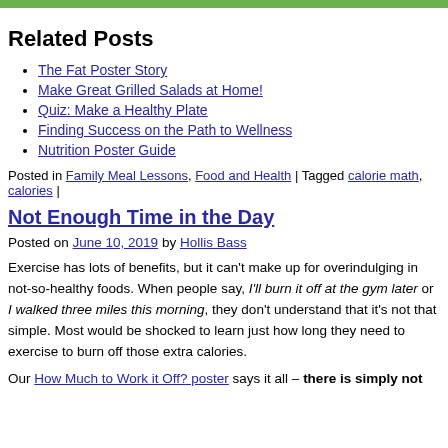Related Posts
The Fat Poster Story
Make Great Grilled Salads at Home!
Quiz: Make a Healthy Plate
Finding Success on the Path to Wellness
Nutrition Poster Guide
Posted in Family Meal Lessons, Food and Health | Tagged calorie math, calories |
Not Enough Time in the Day
Posted on June 10, 2019 by Hollis Bass
Exercise has lots of benefits, but it can't make up for overindulging in not-so-healthy foods. When people say, I'll burn it off at the gym later or I walked three miles this morning, they don't understand that it's not that simple. Most would be shocked to learn just how long they need to exercise to burn off those extra calories.
Our How Much to Work it Off? poster says it all – there is simply not